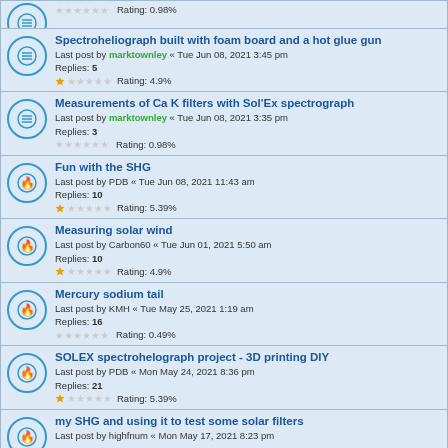Rating: 0.98%
Spectroheliograph built with foam board and a hot glue gun
Last post by marktownley « Tue Jun 08, 2021 3:45 pm
Replies: 5
Rating: 4.9%
Measurements of Ca K filters with Sol'Ex spectrograph
Last post by marktownley « Tue Jun 08, 2021 3:35 pm
Replies: 3
Rating: 0.98%
Fun with the SHG
Last post by PDB « Tue Jun 08, 2021 11:43 am
Replies: 10
Rating: 5.39%
Measuring solar wind
Last post by Carbon60 « Tue Jun 01, 2021 5:50 am
Replies: 10
Rating: 4.9%
Mercury sodium tail
Last post by KMH « Tue May 25, 2021 1:19 am
Replies: 16
Rating: 0.49%
SOLEX spectrohelograph project - 3D printing DIY
Last post by PDB « Mon May 24, 2021 8:36 pm
Replies: 21
Rating: 5.39%
my SHG and using it to test some solar filters
Last post by highfnum « Mon May 17, 2021 8:23 pm